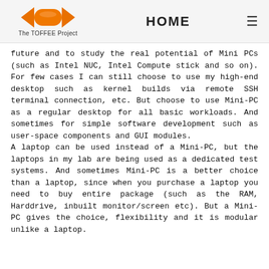HOME — The TOFFEE Project
future and to study the real potential of Mini PCs (such as Intel NUC, Intel Compute stick and so on). For few cases I can still choose to use my high-end desktop such as kernel builds via remote SSH terminal connection, etc. But choose to use Mini-PC as a regular desktop for all basic workloads. And sometimes for simple software development such as user-space components and GUI modules.
A laptop can be used instead of a Mini-PC, but the laptops in my lab are being used as a dedicated test systems. And sometimes Mini-PC is a better choice than a laptop, since when you purchase a laptop you need to buy entire package (such as the RAM, Harddrive, inbuilt monitor/screen etc). But a Mini-PC gives the choice, flexibility and it is modular unlike a laptop.